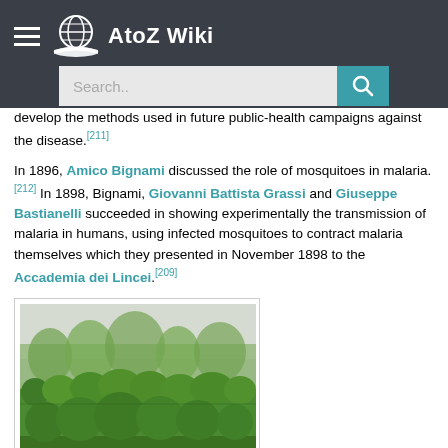AtoZ Wiki
develop the methods used in future public-health campaigns against the disease.[211]
In 1896, Amico Bignami discussed the role of mosquitoes in malaria.[212] In 1898, Bignami, Giovanni Battista Grassi and Giuseppe Bastianelli succeeded in showing experimentally the transmission of malaria in humans, using infected mosquitoes to contract malaria themselves which they presented in November 1898 to the Accademia dei Lincei.[209]
[Figure (photo): Photograph of dense green shrubs/plants growing in rows in a field with foggy background]